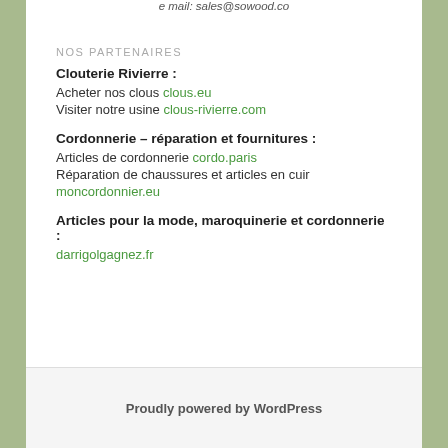e mail: sales@sowood.co
NOS PARTENAIRES
Clouterie Rivierre :
Acheter nos clous clous.eu
Visiter notre usine clous-rivierre.com
Cordonnerie – réparation et fournitures :
Articles de cordonnerie cordo.paris
Réparation de chaussures et articles en cuir
moncordonnier.eu
Articles pour la mode, maroquinerie et cordonnerie :
darrigolgagnez.fr
Proudly powered by WordPress